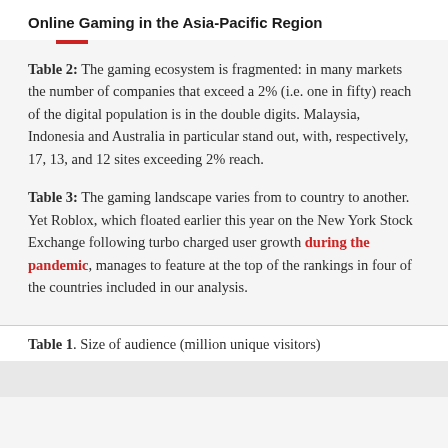Online Gaming in the Asia-Pacific Region
Table 2: The gaming ecosystem is fragmented: in many markets the number of companies that exceed a 2% (i.e. one in fifty) reach of the digital population is in the double digits. Malaysia, Indonesia and Australia in particular stand out, with, respectively, 17, 13, and 12 sites exceeding 2% reach.
Table 3: The gaming landscape varies from to country to another. Yet Roblox, which floated earlier this year on the New York Stock Exchange following turbo charged user growth during the pandemic, manages to feature at the top of the rankings in four of the countries included in our analysis.
Table 1. Size of audience (million unique visitors)